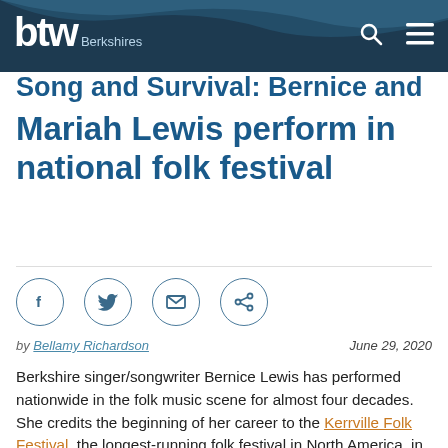btw Berkshires
Song and Survival: Bernice and Mariah Lewis perform in national folk festival
by Bellamy Richardson   June 29, 2020
Berkshire singer/songwriter Bernice Lewis has performed nationwide in the folk music scene for almost four decades. She credits the beginning of her career to the Kerrville Folk Festival, the longest-running folk festival in North America, in the Texas hill…